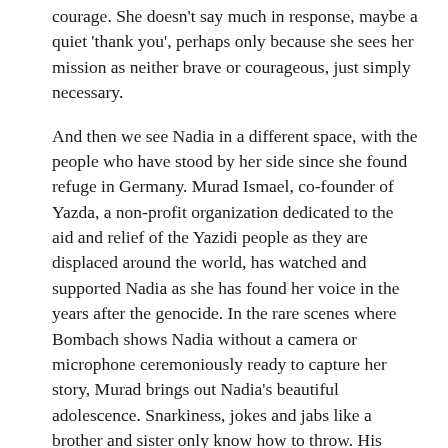courage. She doesn't say much in response, maybe a quiet 'thank you', perhaps only because she sees her mission as neither brave or courageous, just simply necessary.
And then we see Nadia in a different space, with the people who have stood by her side since she found refuge in Germany. Murad Ismael, co-founder of Yazda, a non-profit organization dedicated to the aid and relief of the Yazidi people as they are displaced around the world, has watched and supported Nadia as she has found her voice in the years after the genocide. In the rare scenes where Bombach shows Nadia without a camera or microphone ceremoniously ready to capture her story, Murad brings out Nadia's beautiful adolescence. Snarkiness, jokes and jabs like a brother and sister only know how to throw. His support for her is equally matched by his concern for her as a young woman. When the world sees a confident, heroic woman talking to the United Nations pleading to help her people, Murad sees a young woman who may be reaching her limit. How much can one person rest on her shoulders before the weight of history, tragedy, and expectation caves in on them? Murad seems